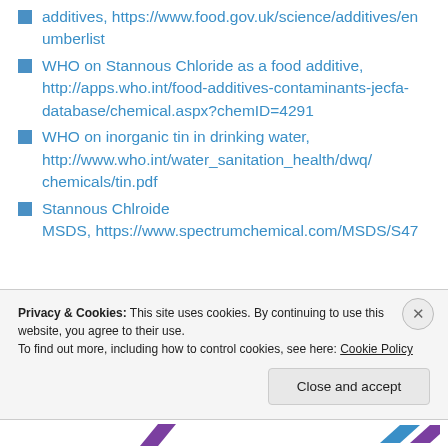additives, https://www.food.gov.uk/science/additives/enumberlist
WHO on Stannous Chloride as a food additive, http://apps.who.int/food-additives-contaminants-jecfa-database/chemical.aspx?chemID=4291
WHO on inorganic tin in drinking water, http://www.who.int/water_sanitation_health/dwq/chemicals/tin.pdf
Stannous Chlroide MSDS, https://www.spectrumchemical.com/MSDS/S47
Privacy & Cookies: This site uses cookies. By continuing to use this website, you agree to their use.
To find out more, including how to control cookies, see here: Cookie Policy